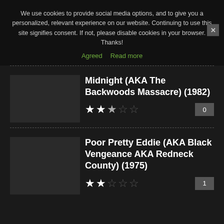We use cookies to provide social media options, and to give you a personalized, relevant experience on our website. Continuing to use this site signifies consent. If not, please disable cookies in your browser. Thanks!
Agreed  Read more
Midnight (AKA The Backwoods Massacre) (1982)
★★½☆☆  0
Poor Pretty Eddie (AKA Black Vengeance AKA Redneck County) (1975)
★★☆☆☆  1